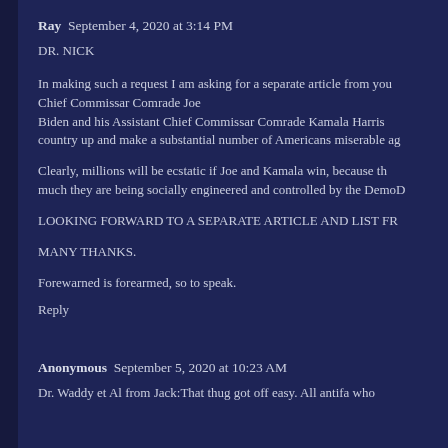Ray  September 4, 2020 at 3:14 PM
DR. NICK
In making such a request I am asking for a separate article from you Chief Commissar Comrade Joe Biden and his Assistant Chief Commissar Comrade Kamala Harris country up and make a substantial number of Americans miserable ag
Clearly, millions will be ecstatic if Joe and Kamala win, because the much they are being socially engineered and controlled by the DemoD
LOOKING FORWARD TO A SEPARATE ARTICLE AND LIST FR
MANY THANKS.
Forewarned is forearmed, so to speak.
Reply
Anonymous  September 5, 2020 at 10:23 AM
Dr. Waddy et Al from Jack:That thug got off easy. All antifa who